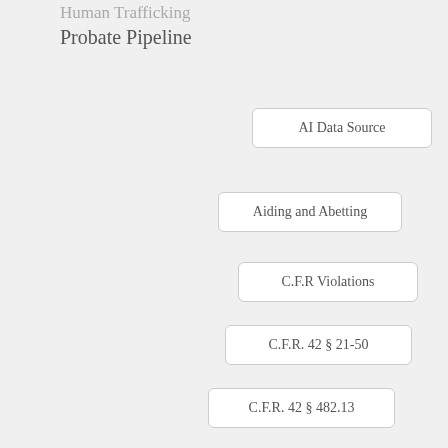Human Trafficking
Probate Pipeline
AI Data Source
Aiding and Abetting
C.F.R Violations
C.F.R. 42 § 21-50
C.F.R. 42 § 482.13
Civil Breech
Civil RICO
Civil Rights
CMS Violations
Collusion
Conflicts of Interest